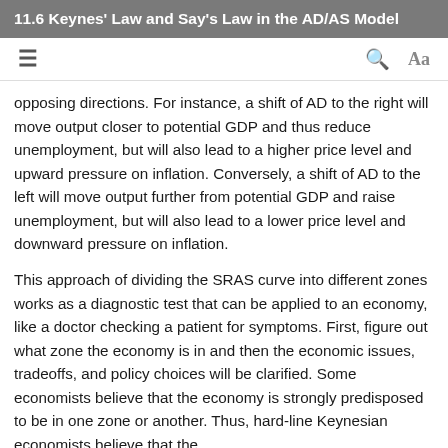11.6 Keynes' Law and Say's Law in the AD/AS Model
opposing directions. For instance, a shift of AD to the right will move output closer to potential GDP and thus reduce unemployment, but will also lead to a higher price level and upward pressure on inflation. Conversely, a shift of AD to the left will move output further from potential GDP and raise unemployment, but will also lead to a lower price level and downward pressure on inflation.
This approach of dividing the SRAS curve into different zones works as a diagnostic test that can be applied to an economy, like a doctor checking a patient for symptoms. First, figure out what zone the economy is in and then the economic issues, tradeoffs, and policy choices will be clarified. Some economists believe that the economy is strongly predisposed to be in one zone or another. Thus, hard-line Keynesian economists believe that the